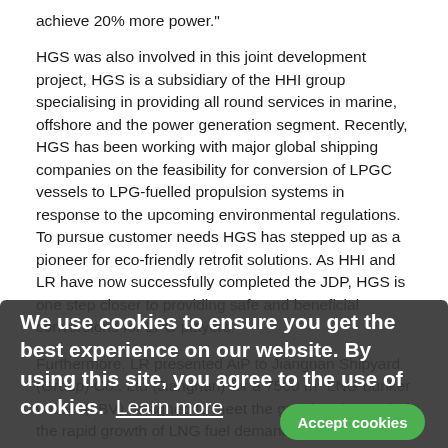achieve 20% more power."
HGS was also involved in this joint development project, HGS is a subsidiary of the HHI group specialising in providing all round services in marine, offshore and the power generation segment. Recently, HGS has been working with major global shipping companies on the feasibility for conversion of LPGC vessels to LPG-fuelled propulsion systems in response to the upcoming environmental regulations. To pursue customer needs HGS has stepped up as a pioneer for eco-friendly retrofit solutions. As HHI and LR have now successfully completed the JDP, HGS is one step closer to providing safe and beneficial conversions for LPG players.
Furthermore, LR presented AiP to Jiangnan Shipyard (Group) Co., Ltd (Jiangnan) for a 7500 m³ LNG bunker vessel (LBV) designed to meet the growing demand of the rapid growth of LNG fuel demand in the active market connected to the approaching global sulphur 2020 limit.
Hu Keyi, Jiangnan Technical Director, said: "The 7500 m³ LBV has a compact design for compatibility with quays and ships, a well-developed hull to reach economical speed-power performance. A dual fuel diesel-electric (DFDE) propulsion system, two azimuth thrusters and one bow thruster to provide excellent